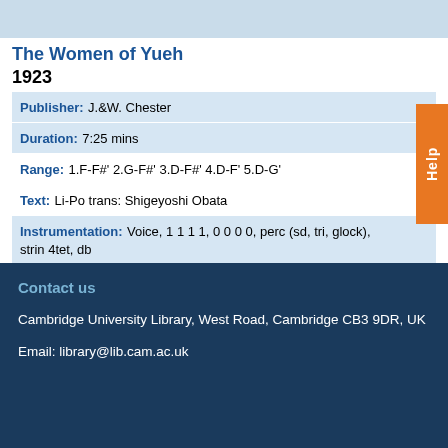The Women of Yueh
1923
Publisher: J.&W. Chester
Duration: 7:25 mins
Range: 1.F-F#' 2.G-F#' 3.D-F#' 4.D-F' 5.D-G'
Text: Li-Po trans: Shigeyoshi Obata
Instrumentation: Voice, 1 1 1 1, 0 0 0 0, perc (sd, tri, glock), strin 4tet, db
Music for voice and orchestra visit Songs
Contact us
Cambridge University Library, West Road, Cambridge CB3 9DR, UK
Email: library@lib.cam.ac.uk